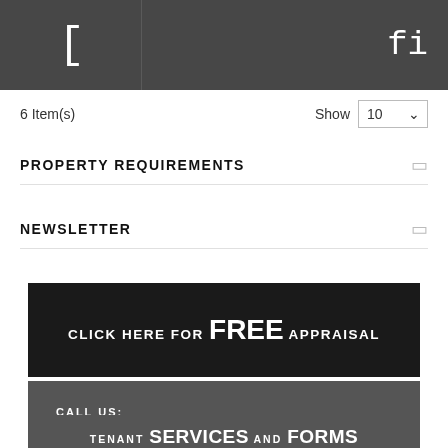[ fl
6 Item(s)  Show 10
PROPERTY REQUIREMENTS
NEWSLETTER
[Figure (infographic): Black banner with text: CLICK HERE FOR FREE APPRAISAL]
[Figure (infographic): Dark grey banner with text: CALL US: +61 3 9528 1210]
[Figure (infographic): Dark grey banner (partially visible) with text: TENANT SERVICES AND FORMS]